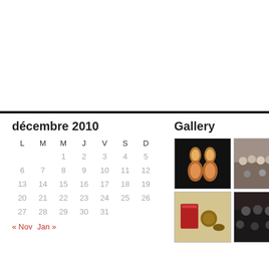décembre 2010
| L | M | M | J | V | S | D |
| --- | --- | --- | --- | --- | --- | --- |
|  |  | 1 | 2 | 3 | 4 | 5 |
| 6 | 7 | 8 | 9 | 10 | 11 | 12 |
| 13 | 14 | 15 | 16 | 17 | 18 | 19 |
| 20 | 21 | 22 | 23 | 24 | 25 | 26 |
| 27 | 28 | 29 | 30 | 31 |  |  |
« Nov   Jan »
Gallery
[Figure (photo): Close-up of ornate drop earrings with gemstones on dark background]
[Figure (photo): Crowd of people at an event or gathering]
[Figure (photo): Objects on a table including what appears to be a red book and small containers]
[Figure (photo): Group of people in a dimly lit room]